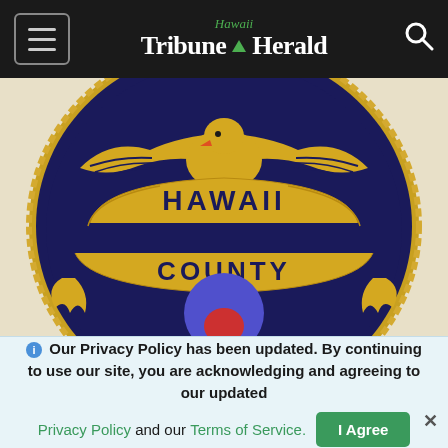Hawaii Tribune Herald
[Figure (photo): Close-up photo of a Hawaii County Police Department embroidered badge/patch, showing a golden eagle at the top with spread wings, two banner ribbons reading 'HAWAII' and 'COUNTY' in gold lettering on a dark navy background, with a central shield element in red and blue at the bottom.]
Our Privacy Policy has been updated. By continuing to use our site, you are acknowledging and agreeing to our updated Privacy Policy and our Terms of Service.